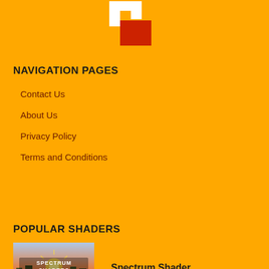[Figure (logo): Minecraft-style logo with white and red block letter M design on yellow background]
NAVIGATION PAGES
Contact Us
About Us
Privacy Policy
Terms and Conditions
POPULAR SHADERS
[Figure (photo): Spectrum Shaders thumbnail image showing a Minecraft sunset scene with orange sky]
Spectrum Shader